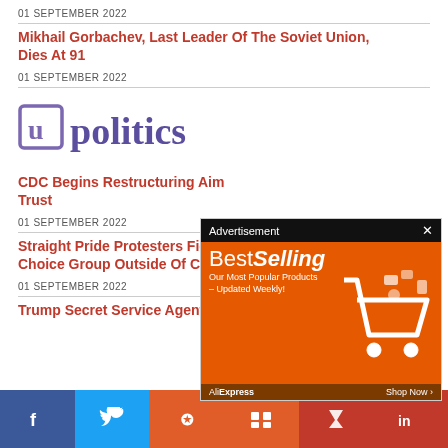01 SEPTEMBER 2022
Mikhail Gorbachev, Last Leader Of The Soviet Union, Dies At 91
01 SEPTEMBER 2022
[Figure (logo): upolitics logo — lowercase 'u' in square bracket style followed by 'politics' in purple serif]
CDC Begins Restructuring Aim Trust
01 SEPTEMBER 2022
Straight Pride Protesters Fight Choice Group Outside Of California Abortion Clinic
01 SEPTEMBER 2022
Trump Secret Service Agent Tony Ornato, Central
[Figure (screenshot): Advertisement overlay: BestSelling AliExpress banner with shopping cart illustration, orange background]
[Figure (infographic): Social media share bar with Facebook, Twitter, Reddit, Mix, Flipboard, LinkedIn icons]